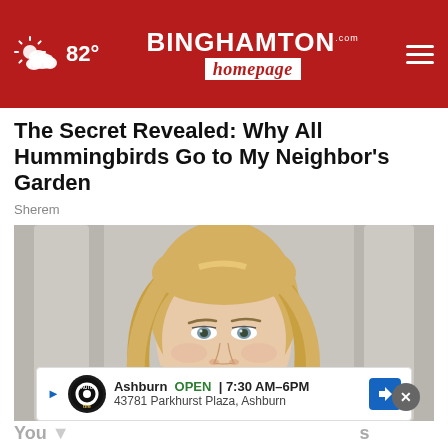82° | BINGHAMTON homepage | ≡
The Secret Revealed: Why All Hummingbirds Go to My Neighbor's Garden
Sherem
[Figure (photo): Close-up portrait of a young blonde woman facing the camera, with a blurred architectural background]
Ashburn  OPEN  7:30 AM–6PM  43781 Parkhurst Plaza, Ashburn
You                                                           s